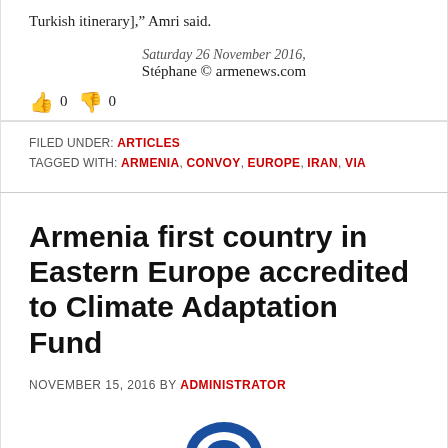Turkish itinerary]," Amri said.
Saturday 26 November 2016,
Stéphane © armenews.com
👍 0 👎 0
FILED UNDER: ARTICLES
TAGGED WITH: ARMENIA, CONVOY, EUROPE, IRAN, VIA
Armenia first country in Eastern Europe accredited to Climate Adaptation Fund
NOVEMBER 15, 2016 BY ADMINISTRATOR
[Figure (logo): Partial blue logo/image at bottom center, cropped]